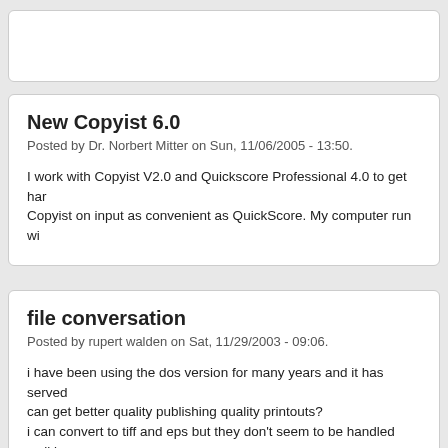New Copyist 6.0
Posted by Dr. Norbert Mitter on Sun, 11/06/2005 - 13:50.
I work with Copyist V2.0 and Quickscore Professional 4.0 to get har... Copyist on input as convenient as QuickScore. My computer run wi...
file conversation
Posted by rupert walden on Sat, 11/29/2003 - 09:06.
i have been using the dos version for many years and it has served... can get better quality publishing quality printouts?
i can convert to tiff and eps but they don't seem to be handled well b... manager" which convert on file type to another, but it does not recog... consuming trying to "stretch" them to fit into wordperfect.
can you offer any direction or assistance.